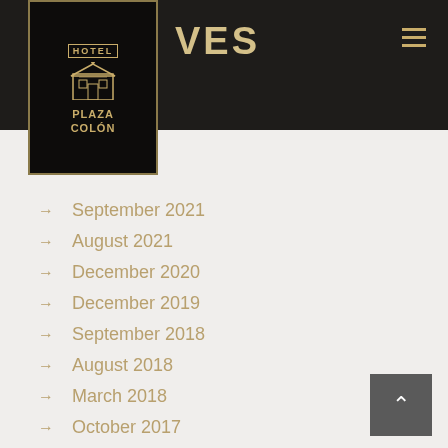[Figure (logo): Hotel Plaza Colón logo in black box with gold border]
VES
→ September 2021
→ August 2021
→ December 2020
→ December 2019
→ September 2018
→ August 2018
→ March 2018
→ October 2017
→ August 2017
→ July 2017
→ May 2017
→ April 2017